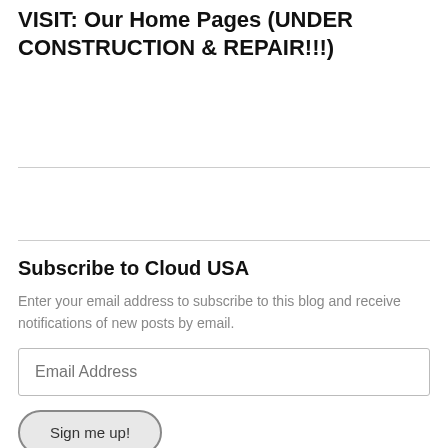VISIT: Our Home Pages (UNDER CONSTRUCTION & REPAIR!!!)
Subscribe to Cloud USA
Enter your email address to subscribe to this blog and receive notifications of new posts by email.
Email Address
Sign me up!
Join 15,733 other followers